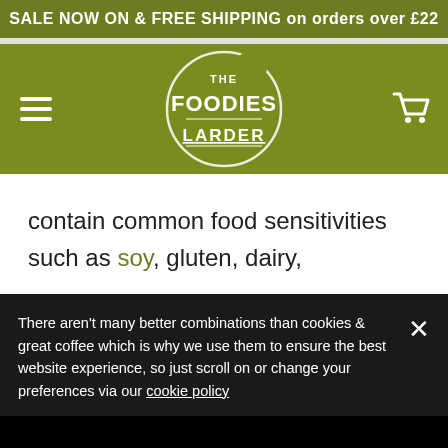SALE NOW ON & FREE SHIPPING on orders over £22
[Figure (logo): The Foodies Larder circular logo with white text on olive green background, with a bite taken out of the top right of the circle]
contain common food sensitivities such as soy, gluten, dairy, wheat eggs, nuts, seeds and corn.
There aren't many better combinations than cookies & great coffee which is why we use them to ensure the best website experience, so just scroll on or change your preferences via our cookie policy